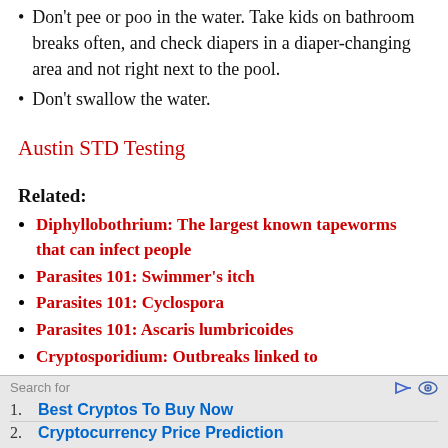Don't pee or poo in the water. Take kids on bathroom breaks often, and check diapers in a diaper-changing area and not right next to the pool.
Don't swallow the water.
Austin STD Testing
Related:
Diphyllobothrium: The largest known tapeworms that can infect people
Parasites 101: Swimmer's itch
Parasites 101: Cyclospora
Parasites 101: Ascaris lumbricoides
Cryptosporidium: Outbreaks linked to
Search for
1. Best Cryptos To Buy Now
2. Cryptocurrency Price Prediction